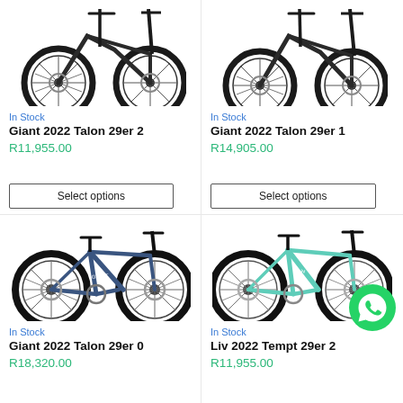[Figure (photo): Mountain bike - Giant 2022 Talon 29er 2 (partial top, dark colored)]
In Stock
Giant 2022 Talon 29er 2
R11,955.00
Select options
[Figure (photo): Mountain bike - Giant 2022 Talon 29er 1 (partial top, dark colored)]
In Stock
Giant 2022 Talon 29er 1
R14,905.00
Select options
[Figure (photo): Mountain bike - Giant 2022 Talon 29er 0 (blue/grey, full bike visible)]
In Stock
Giant 2022 Talon 29er 0
R18,320.00
[Figure (photo): Mountain bike - Liv 2022 Tempt 29er 2 (mint/teal green, full bike visible) with WhatsApp icon overlay]
In Stock
Liv 2022 Tempt 29er 2
R11,955.00